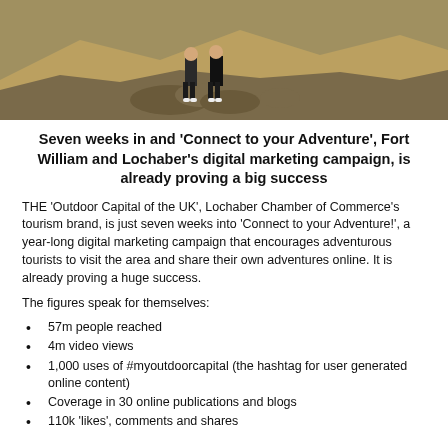[Figure (photo): Two people standing on rocky terrain with hills in the background, outdoor adventure scene]
Seven weeks in and 'Connect to your Adventure', Fort William and Lochaber's digital marketing campaign, is already proving a big success
THE 'Outdoor Capital of the UK', Lochaber Chamber of Commerce's tourism brand, is just seven weeks into 'Connect to your Adventure!', a year-long digital marketing campaign that encourages adventurous tourists to visit the area and share their own adventures online. It is already proving a huge success.
The figures speak for themselves:
57m people reached
4m video views
1,000 uses of #myoutdoorcapital (the hashtag for user generated online content)
Coverage in 30 online publications and blogs
110k 'likes', comments and shares